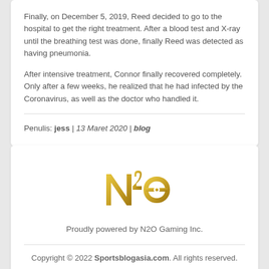Finally, on December 5, 2019, Reed decided to go to the hospital to get the right treatment. After a blood test and X-ray until the breathing test was done, finally Reed was detected as having pneumonia.
After intensive treatment, Connor finally recovered completely. Only after a few weeks, he realized that he had infected by the Coronavirus, as well as the doctor who handled it.
Penulis: jess | 13 Maret 2020 | blog
[Figure (logo): N2O Gaming Inc. logo in gold color showing stylized N2O letters]
Proudly powered by N2O Gaming Inc.
Copyright © 2022 Sportsblogasia.com. All rights reserved.